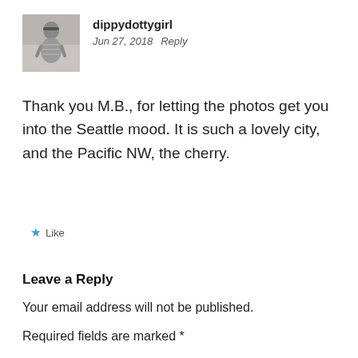[Figure (photo): Black and white avatar photo of a young girl with a headband, wearing a patterned dress, outdoors]
dippydottygirl
Jun 27, 2018   Reply
Thank you M.B., for letting the photos get you into the Seattle mood. It is such a lovely city, and the Pacific NW, the cherry.
★ Like
Leave a Reply
Your email address will not be published.
Required fields are marked *